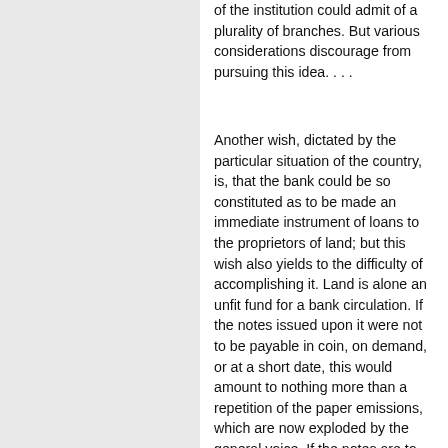of the institution could admit of a plurality of branches. But various considerations discourage from pursuing this idea. . . .
Another wish, dictated by the particular situation of the country, is, that the bank could be so constituted as to be made an immediate instrument of loans to the proprietors of land; but this wish also yields to the difficulty of accomplishing it. Land is alone an unfit fund for a bank circulation. If the notes issued upon it were not to be payable in coin, on demand, or at a short date, this would amount to nothing more than a repetition of the paper emissions, which are now exploded by the general voice. If the notes are to be payable in coin, the land must first be converted into it, by sale or mortgage